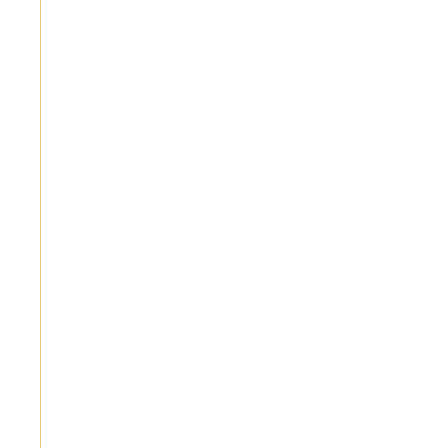Your Health During Medical Detox
Treat Your Feet with Respect: 4 Adverse Effects of Wearing Flip-Flops
Trouble Sleeping? Four Ways to Get Better Rest
Unique Care: 3 Specialized Healthcare Fields Most People Will Never Need
Vexed by Poor Vision? 4 Age-Related Eye Diseases and How to Identify Them
Watch Your Mouth: Signs of Periodontal Gum Disease
Water Works: 3 Unique Ways to Keep Your Body Happy and Healthy